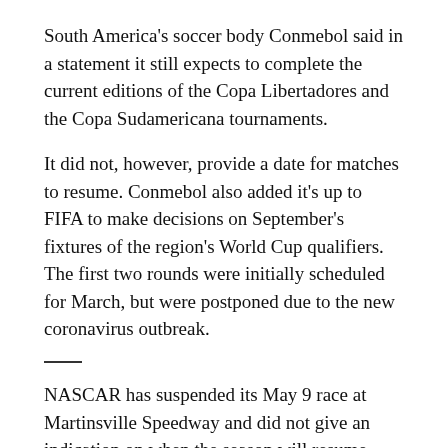South America's soccer body Conmebol said in a statement it still expects to complete the current editions of the Copa Libertadores and the Copa Sudamericana tournaments.
It did not, however, provide a date for matches to resume. Conmebol also added it's up to FIFA to make decisions on September's fixtures of the region's World Cup qualifiers. The first two rounds were initially scheduled for March, but were postponed due to the new coronavirus outbreak.
NASCAR has suspended its May 9 race at Martinsville Speedway and did not give an indication on when the season will resume.
When NASCAR suspended racing four events into the season, it listed the event in Virginia as its return date.